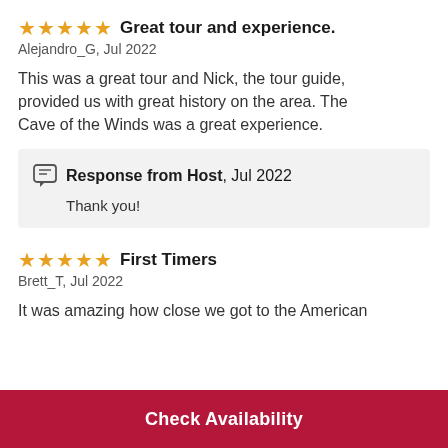Great tour and experience.
Alejandro_G, Jul 2022
This was a great tour and Nick, the tour guide, provided us with great history on the area. The Cave of the Winds was a great experience.
Response from Host, Jul 2022
Thank you!
First Timers
Brett_T, Jul 2022
It was amazing how close we got to the American
Check Availability